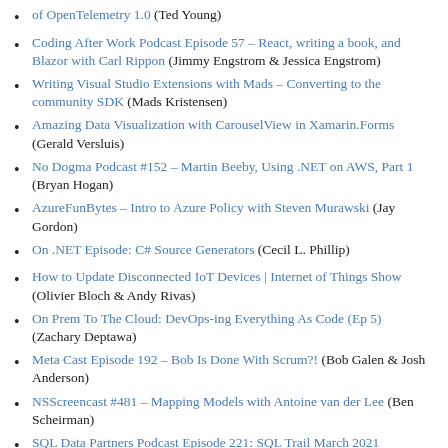of OpenTelemetry 1.0 (Ted Young)
Coding After Work Podcast Episode 57 – React, writing a book, and Blazor with Carl Rippon (Jimmy Engstrom & Jessica Engstrom)
Writing Visual Studio Extensions with Mads – Converting to the community SDK (Mads Kristensen)
Amazing Data Visualization with CarouselView in Xamarin.Forms (Gerald Versluis)
No Dogma Podcast #152 – Martin Beeby, Using .NET on AWS, Part 1 (Bryan Hogan)
AzureFunBytes – Intro to Azure Policy with Steven Murawski (Jay Gordon)
On .NET Episode: C# Source Generators (Cecil L. Phillip)
How to Update Disconnected IoT Devices | Internet of Things Show (Olivier Bloch & Andy Rivas)
On Prem To The Cloud: DevOps-ing Everything As Code (Ep 5) (Zachary Deptawa)
Meta Cast Episode 192 – Bob Is Done With Scrum?! (Bob Galen & Josh Anderson)
NSScreencast #481 – Mapping Models with Antoine van der Lee (Ben Scheirman)
SQL Data Partners Podcast Episode 221: SQL Trail March 2021 Retrospective (Carlos L. Chacon)
FreeCodeSession – Episode 349 (Jason Bock)